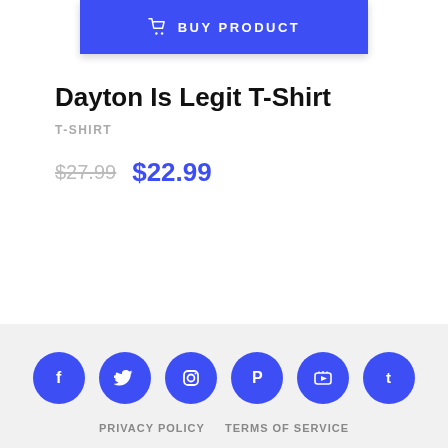[Figure (other): Blue 'BUY PRODUCT' button with shopping cart icon]
Dayton Is Legit T-Shirt
T-SHIRT
$27.99  $22.99
[Figure (infographic): Social media icons row: Facebook, Twitter, Instagram, Pinterest, YouTube, Tumblr — all in blue circles]
PRIVACY POLICY   TERMS OF SERVICE